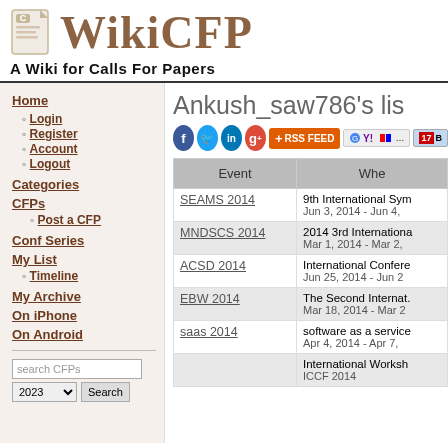[Figure (logo): WikiCFP logo with document icon and text 'WikiCFP' in brown serif font]
A Wiki for Calls For Papers
Home
Login
Register
Account
Logout
Categories
CFPs
Post a CFP
Conf Series
My List
Timeline
My Archive
On iPhone
On Android
Ankush_saw786's lis
| Event | Whe |
| --- | --- |
| SEAMS 2014 | 9th International Sym
Jun 3, 2014 - Jun 4, |
| MNDSCS 2014 | 2014 3rd Internationa
Mar 1, 2014 - Mar 2, |
| ACSD 2014 | International Confere
Jun 25, 2014 - Jun 2 |
| EBW 2014 | The Second Internat.
Mar 18, 2014 - Mar 2 |
| saas 2014 | software as a service
Apr 4, 2014 - Apr 7, |
|  | International Worksh
ICCF 2014 |